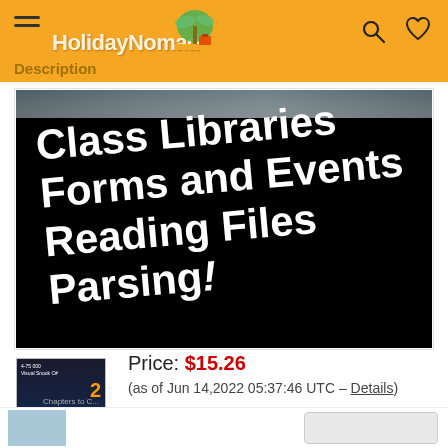HolidayNomad - Description
[Figure (screenshot): Course thumbnail image showing text on black background: Class Libraries, Forms and Events, Reading Files, Parsing!]
[Figure (screenshot): Small thumbnail of a course video cover with dark background, number 2, and text: Class Libraries, Forms and Events, Reading Files, Parsing!]
Price: $15.26
(as of Jun 14,2022 05:37:46 UTC – Details)